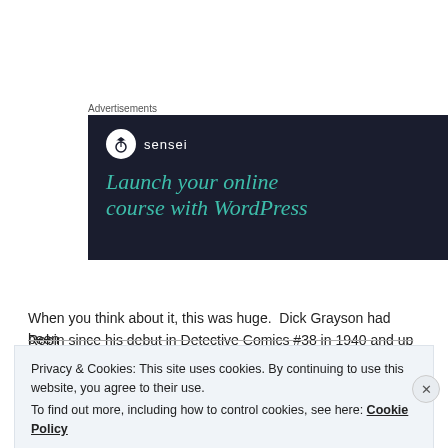Advertisements
[Figure (screenshot): Sensei advertisement banner on dark navy background. Shows Sensei logo (tree icon in white circle) with text 'sensei', and headline text 'Launch your online course with WordPress' in teal/green italic font.]
When you think about it, this was huge.  Dick Grayson had been
Robin since his debut in Detective Comics #38 in 1940 and up until
Privacy & Cookies: This site uses cookies. By continuing to use this website, you agree to their use.
To find out more, including how to control cookies, see here: Cookie Policy
Close and accept